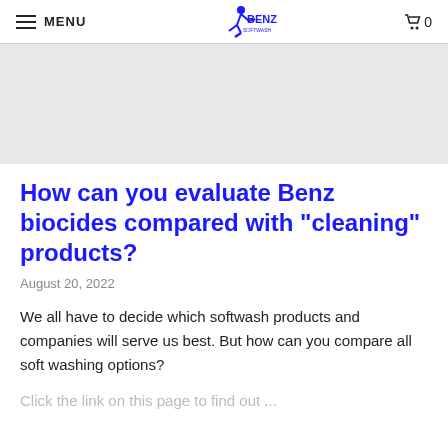MENU | BENZ SOFTWASH | 0
[Figure (photo): Faded/light background image placeholder area, appears to be a soft wash related image]
How can you evaluate Benz biocides compared with "cleaning" products?
August 20, 2022
We all have to decide which softwash products and companies will serve us best. But how can you compare all soft washing options?
Click the link on this page to find out ...